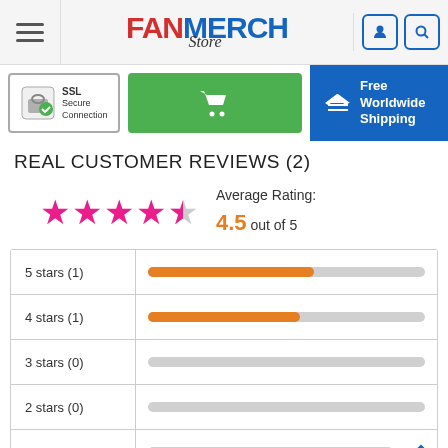[Figure (logo): FanMerch Store logo with hamburger menu and user/search icons in header]
[Figure (infographic): SSL Secure Connection badge, green shopping cart button, and Free Worldwide Shipping banner]
REAL CUSTOMER REVIEWS (2)
[Figure (infographic): 4.5 out of 5 stars rating display — 4 full pink stars and 1 half pink star. Average Rating: 4.5 out of 5]
| Rating | Bar |
| --- | --- |
| 5 stars (1) | ~60% filled orange bar |
| 4 stars (1) | ~55% filled orange bar |
| 3 stars (0) | empty gray bar |
| 2 stars (0) | empty gray bar |
| 1 star (0) | empty gray bar |